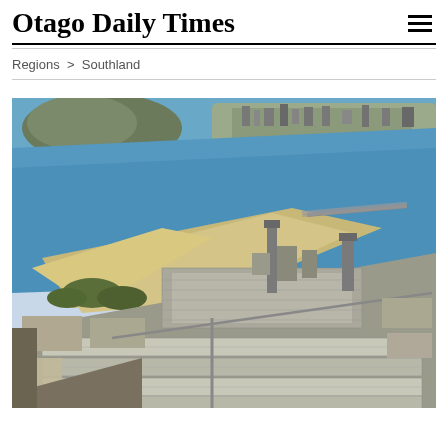Otago Daily Times
Regions > Southland
[Figure (photo): Aerial photograph of the Tiwai Point aluminium smelter in Southland, New Zealand, showing large industrial buildings with corrugated roofs, smokestacks, and surrounding coastal landscape with blue water and a sandy peninsula in the background, with a town visible across the water.]